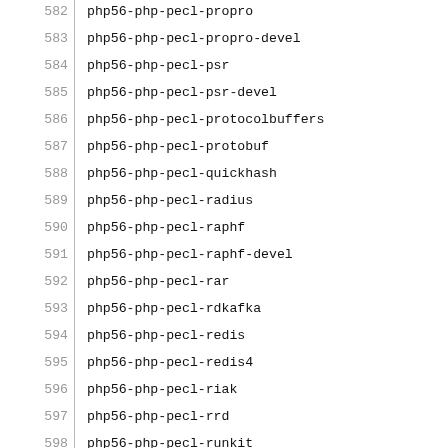582  php56-php-pecl-propro
583  php56-php-pecl-propro-devel
584  php56-php-pecl-psr
585  php56-php-pecl-psr-devel
586  php56-php-pecl-protocolbuffers
587  php56-php-pecl-protobuf
588  php56-php-pecl-quickhash
589  php56-php-pecl-radius
590  php56-php-pecl-raphf
591  php56-php-pecl-raphf-devel
592  php56-php-pecl-rar
593  php56-php-pecl-rdkafka
594  php56-php-pecl-redis
595  php56-php-pecl-redis4
596  php56-php-pecl-riak
597  php56-php-pecl-rrd
598  php56-php-pecl-runkit
599  php56-php-pecl-scream
600  php56-php-pecl-scrypt
601  php56-php-pecl-sdl
602  php56-php-pecl-seasclick
603  php56-php-pecl-seaslog
604  php56-php-pecl-selinux
605  php56-php-pecl-solr
606  php56-php-pecl-solr2
607  php56-php-pecl-sphinx
608  php56-php-pecl-spl-types
609  php56-php-pecl-sqlite
610  php56-php-pecl-ssdeep
611  php56-php-pecl-ssh2
612  php56-php-pecl-stats